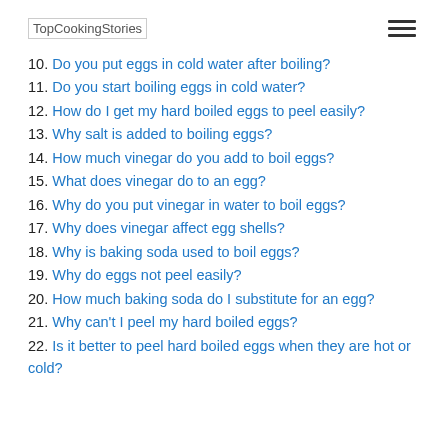TopCookingStories
10. Do you put eggs in cold water after boiling?
11. Do you start boiling eggs in cold water?
12. How do I get my hard boiled eggs to peel easily?
13. Why salt is added to boiling eggs?
14. How much vinegar do you add to boil eggs?
15. What does vinegar do to an egg?
16. Why do you put vinegar in water to boil eggs?
17. Why does vinegar affect egg shells?
18. Why is baking soda used to boil eggs?
19. Why do eggs not peel easily?
20. How much baking soda do I substitute for an egg?
21. Why can't I peel my hard boiled eggs?
22. Is it better to peel hard boiled eggs when they are hot or cold?